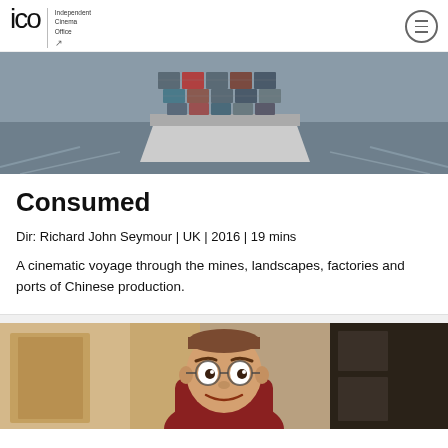ICO Independent Cinema Office
[Figure (photo): Aerial view of a large container ship loaded with shipping containers on grey water, viewed from above and behind]
Consumed
Dir: Richard John Seymour | UK | 2016 | 19 mins
A cinematic voyage through the mines, landscapes, factories and ports of Chinese production.
[Figure (photo): Screenshot showing an animated cartoon character (a man in a red jacket with exaggerated features) in front of a realistic background interior scene]